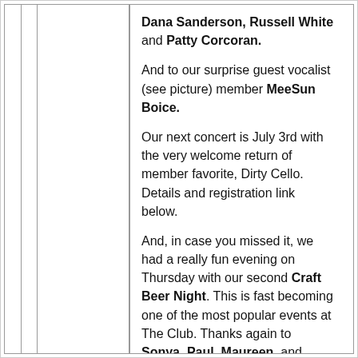Dana Sanderson, Russell White and Patty Corcoran.
And to our surprise guest vocalist (see picture) member MeeSun Boice.
Our next concert is July 3rd with the very welcome return of member favorite, Dirty Cello. Details and registration link below.
And, in case you missed it, we had a really fun evening on Thursday with our second Craft Beer Night. This is fast becoming one of the most popular events at The Club. Thanks again to Sonya, Paul, Maureen, and Mark.
And not forgetting the Cruise Out-and-In sailors and their intrepid leader, Shannon Amerman.